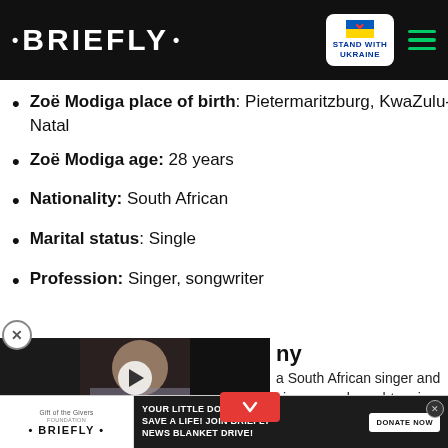• BRIEFLY •
Zoë Modiga place of birth: Pietermaritzburg, KwaZulu-Natal
Zoë Modiga age: 28 years
Nationality: South African
Marital status: Single
Profession: Singer, songwriter
[Figure (screenshot): Video thumbnail showing a man in a suit, with a play button overlay. Partial heading text 'ny' visible. Partial body text: 'a South African singer and singer was brought up in Natal. She has not revealed ngs to the public.' Red down-arrow button visible.]
[Figure (infographic): Ad banner: Gift of the Givers / Briefly logo on left. Dark background with text: YOUR LITTLE DONATION CAN SAVE A LIFE! JOIN BRIEFLY NEWS BLANKET DRIVE! DONATE NOW button on right.]